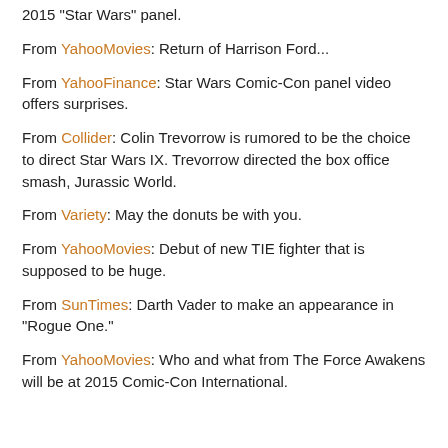2015 "Star Wars" panel.
From YahooMovies:  Return of Harrison Ford...
From YahooFinance:  Star Wars Comic-Con panel video offers surprises.
From Collider:  Colin Trevorrow is rumored to be the choice to direct Star Wars IX.  Trevorrow directed the box office smash, Jurassic World.
From Variety:  May the donuts be with you.
From YahooMovies:  Debut of new TIE fighter that is supposed to be huge.
From SunTimes:  Darth Vader to make an appearance in "Rogue One."
From YahooMovies:  Who and what from The Force Awakens will be at 2015 Comic-Con International.